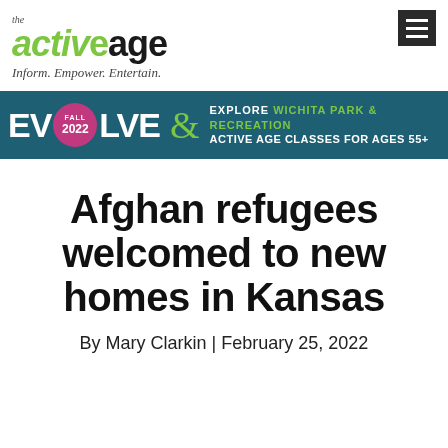the active age — Inform. Empower. Entertain.
[Figure (infographic): EVOLVE FALL 2022 banner advertisement for Explore Wichita Park & Recreation Active Age Classes for Ages 55+]
Afghan refugees welcomed to new homes in Kansas
By Mary Clarkin | February 25, 2022